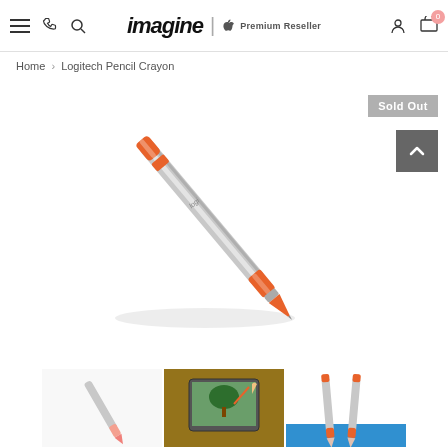imagine | Apple Premium Reseller — navigation bar with menu, phone, search, account, cart (0)
Home > Logitech Pencil Crayon
[Figure (photo): Logitech Crayon digital pencil — silver body with orange tip and orange cap accent, diagonal orientation]
Sold Out
[Figure (photo): Thumbnail 1: Logitech Crayon pencil close-up pink/orange tip on white background]
[Figure (photo): Thumbnail 2: Person using Logitech Crayon on iPad showing nature photo, wooden desk]
[Figure (photo): Thumbnail 3: Two Logitech Crayon pencils side by side on white/blue background]